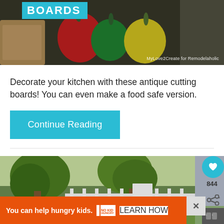[Figure (photo): Photo of colorful bell peppers (red, green, yellow) on a cutting board with text overlay 'BOARDS' in teal and attribution 'MyLove2Create for Remodelaholic']
Decorate your kitchen with these antique cutting boards! You can even make a food safe version.
Continue Reading
[Figure (photo): Photo of a backyard with trees and a white picket fence, with a heart/save button showing 844 saves and a share button on the right side]
You can help hungry kids.
LEARN HOW